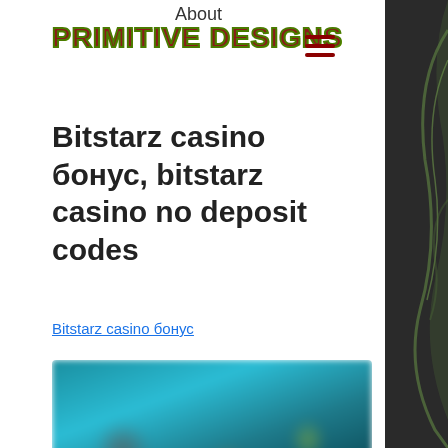About | PRIMITIVE DESIGNS
Bitstarz casino бонус, bitstarz casino no deposit codes
Bitstarz casino бонус
[Figure (photo): Blurred screenshot of Bitstarz casino games interface showing various game thumbnails with teal/dark background]